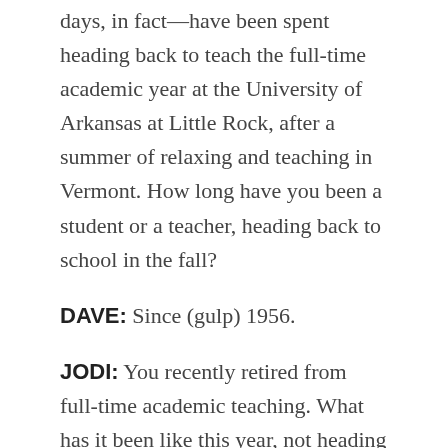days, in fact—have been spent heading back to teach the full-time academic year at the University of Arkansas at Little Rock, after a summer of relaxing and teaching in Vermont. How long have you been a student or a teacher, heading back to school in the fall?
DAVE: Since (gulp) 1956.
JODI: You recently retired from full-time academic teaching. What has it been like this year, not heading back to school during the back-to-school season?